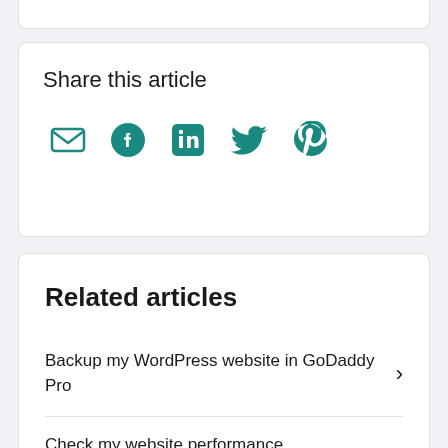Share this article
[Figure (infographic): Social sharing icons: email, Facebook, LinkedIn, Twitter, Pinterest — all in teal color]
Related articles
Backup my WordPress website in GoDaddy Pro
Check my website performance